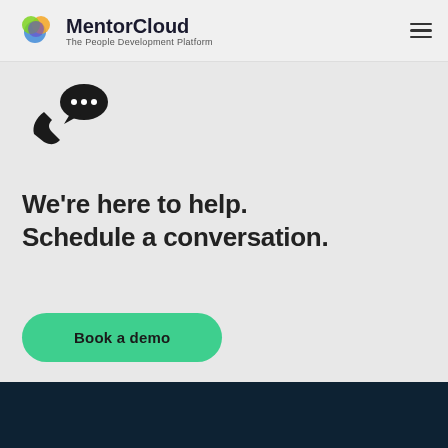[Figure (logo): MentorCloud logo with colorful swirl icon and text 'MentorCloud - The People Development Platform']
[Figure (illustration): Phone handset with speech bubble chat icon]
We're here to help. Schedule a conversation.
Book a demo